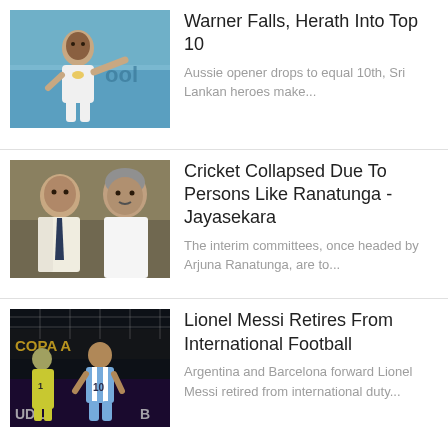[Figure (photo): Cricket player in white uniform gesturing on blue stadium background]
Warner Falls, Herath Into Top 10
Aussie opener drops to equal 10th, Sri Lankan heroes make...
[Figure (photo): Two men, one in suit with tie, one in white shirt, cricket officials]
Cricket Collapsed Due To Persons Like Ranatunga - Jayasekara
The interim committees, once headed by Arjuna Ranatunga, are to...
[Figure (photo): Lionel Messi in Argentina kit number 10, football stadium background with Copa America signage]
Lionel Messi Retires From International Football
Argentina and Barcelona forward Lionel Messi retired from international duty...